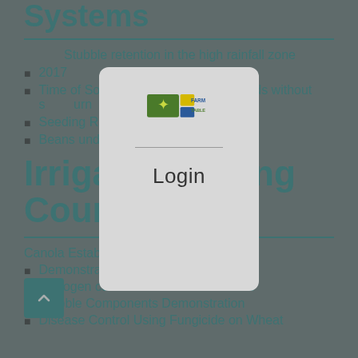Systems
Stubble retention in the high rainfall zone
2017
Time of Sowing … reduce stubble loads without s… urn
Seeding Rate a… owing of Faba
Beans under Ir…
Irrigated … ing Council
Canola Establishment in Heavy Stubble
Demonstration
Nitrogen contribution of faba stubbles
Stubble Components Demonstration
Disease Control Using Fungicide on Wheat
[Figure (screenshot): Login modal dialog with Farm Table logo and Login button, overlaid on the page content]